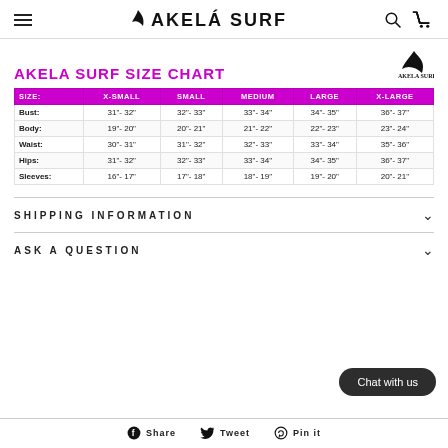AKELA SURF
AKELA SURF SIZE CHART
| SIZE: | X-SMALL | SMALL | MEDIUM | LARGE | X-LARGE |
| --- | --- | --- | --- | --- | --- |
| Bust: | 31"- 32" | 32"- 33" | 33"- 34" | 34"- 35" | 36"- 37" |
| Body: | 19"- 20" | 20"- 21" | 21"- 22" | 22"- 23" | 23"- 24" |
| Waist: | 30"- 31" | 31"- 32" | 32"- 33" | 33"- 34" | 35"- 36" |
| Hips: | 31"- 32" | 32"- 33" | 33"- 34" | 34"- 35" | 36"- 37" |
| Sleeves: | 16"- 17" | 17"- 18" | 18"- 19" | 19"- 20" | 20"- 21" |
SHIPPING INFORMATION
ASK A QUESTION
Chat with us
Share   Tweet   Pin it